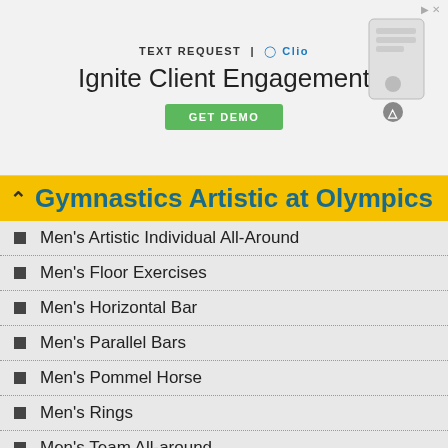[Figure (screenshot): Advertisement banner for Text Request | Clio — 'Ignite Client Engagement' with a green GET DEMO button and a phone/chat illustration]
Gymnastics Artistic at Olympics
Men's Artistic Individual All-Around
Men's Floor Exercises
Men's Horizontal Bar
Men's Parallel Bars
Men's Pommel Horse
Men's Rings
Men's Team All-around
Men's Vault
Women's Artistic Individual All-around
Women's Artistic Team All-around
Women's Balance Beam